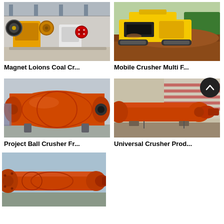[Figure (photo): Yellow and white jaw crusher machines inside an industrial warehouse]
Magnet Loions Coal Cr...
[Figure (photo): Yellow mobile crusher machine on tracks outdoors on reddish soil/gravel]
Mobile Crusher Multi F...
[Figure (photo): Large orange ball mill/crusher machine inside a factory/warehouse]
Project Ball Crusher Fr...
[Figure (photo): Orange ball mill/crusher machine lying on ground outdoors]
Universal Crusher Prod...
[Figure (photo): Orange ball mill/crusher machine close-up outdoors against sky]